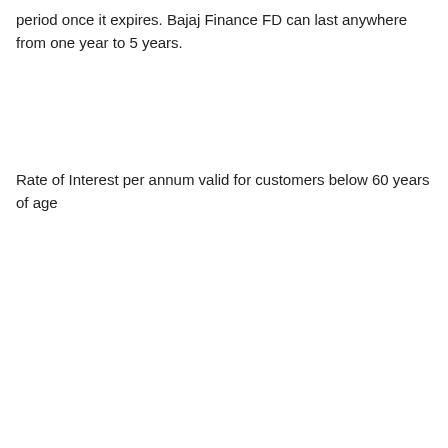period once it expires. Bajaj Finance FD can last anywhere from one year to 5 years.
Rate of Interest per annum valid for customers below 60 years of age